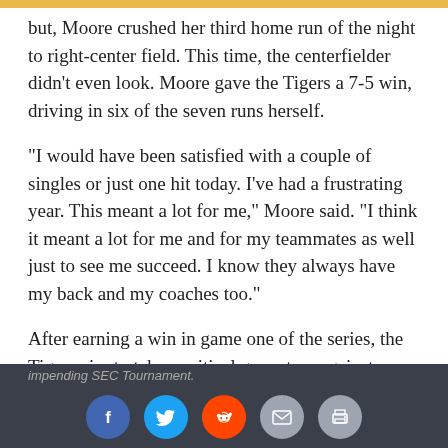but, Moore crushed her third home run of the night to right-center field. This time, the centerfielder didn't even look. Moore gave the Tigers a 7-5 win, driving in six of the seven runs herself.
“I would have been satisfied with a couple of singles or just one hit today. I’ve had a frustrating year. This meant a lot for me,” Moore said. “I think it meant a lot for me and for my teammates as well just to see me succeed. I know they always have my back and my coaches too.”
After earning a win in game one of the series, the Tigers aim to take a critical game two against A&M on Saturday at 4 p.m. The fireworks from Friday night will be washed away, and the two teams will do battle once again at Mizzou Softball Stadium to try to improve their respective standings for the impending SEC Tournament.
Social share buttons: Facebook, Twitter, Reddit, Email, Print